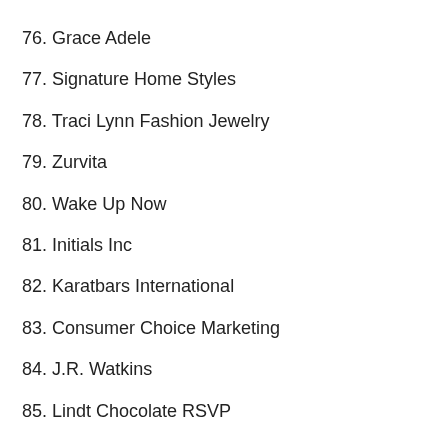76. Grace Adele
77. Signature Home Styles
78. Traci Lynn Fashion Jewelry
79. Zurvita
80. Wake Up Now
81. Initials Inc
82. Karatbars International
83. Consumer Choice Marketing
84. J.R. Watkins
85. Lindt Chocolate RSVP